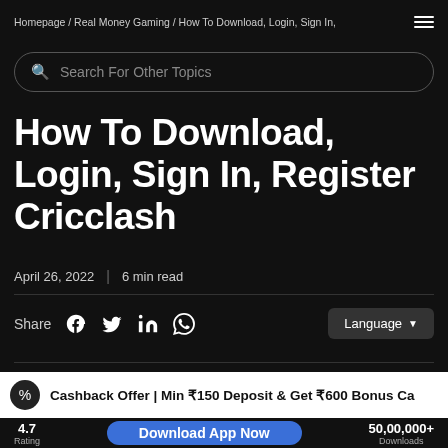Homepage / Real Money Gaming / How To Download, Login, Sign In,
Search For Other Topics
How To Download, Login, Sign In, Register Cricclash
April 26, 2022  |  6 min read
Share  [Facebook] [Twitter] [LinkedIn] [WhatsApp]  Language
Cashback Offer | Min ₹150 Deposit & Get ₹600 Bonus Ca
4.7 Rating  Download App Now  50,00,000+ Downloads